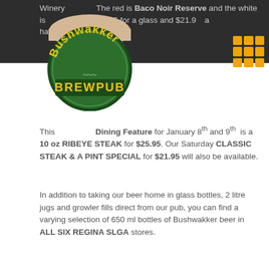Winery... The red is Baco Noir Reserve and the white is... are $7.95 for a glass and $21.9... a ha...
[Figure (logo): Bushwakker Brewpub circular logo with green background and yellow text]
[Figure (other): Orange/yellow 3x3 grid icon]
This... Dining Feature for January 8th and 9th is a 10 oz RIBEYE STEAK for $25.95. Our Saturday CLASSIC STEAK & A PINT SPECIAL for $21.95 will also be available.
In addition to taking our beer home in glass bottles, 2 litre jugs and growler fills direct from our pub, you can find a varying selection of 650 ml bottles of Bushwakker beer in ALL SIX REGINA SLGA stores.